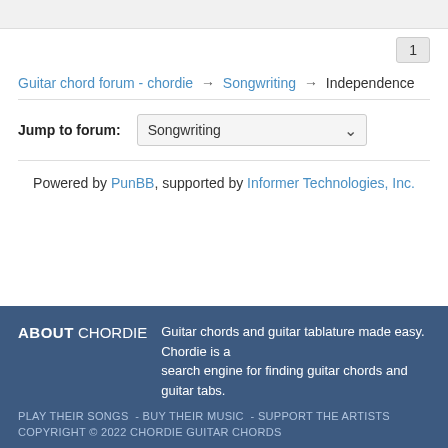1
Guitar chord forum - chordie → Songwriting → Independence
Jump to forum: Songwriting
Powered by PunBB, supported by Informer Technologies, Inc.
ABOUT CHORDIE  Guitar chords and guitar tablature made easy. Chordie is a search engine for finding guitar chords and guitar tabs.
PLAY THEIR SONGS  - BUY THEIR MUSIC  - SUPPORT THE ARTISTS
COPYRIGHT © 2022 CHORDIE GUITAR CHORDS